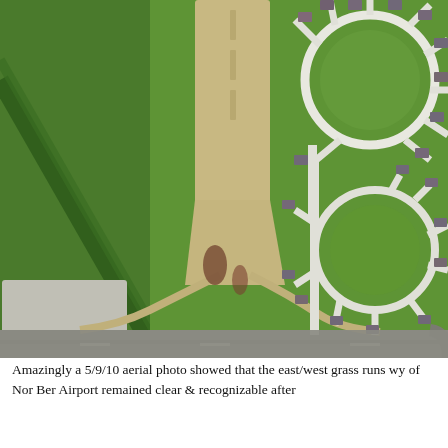[Figure (photo): Aerial satellite photograph showing a grass runway at an airport surrounded by green fields on the left side and a residential subdivision with curved streets and houses on the right side. The runway appears as a tan/brown rectangular strip oriented roughly north-south with a taxiway branching off at the southern end. A road runs along the bottom of the image.]
Amazingly a 5/9/10 aerial photo showed that the east/west grass runs wy of Nor Ber Airport remained clear & recognizable after